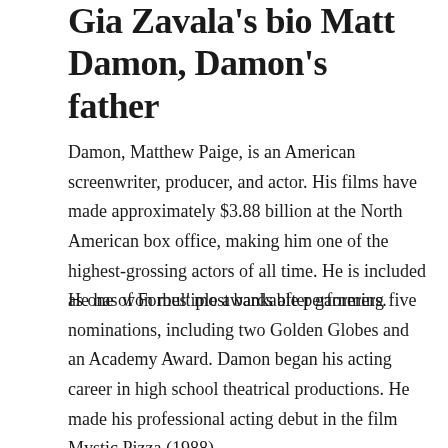Gia Zavala's bio Matt Damon, Damon's father
Damon, Matthew Paige, is an American screenwriter, producer, and actor. His films have made approximately $3.88 billion at the North American box office, making him one of the highest-grossing actors of all time. He is included as one of Forbes' most bankable performers.
He has won multiple awards after garnering five nominations, including two Golden Globes and an Academy Award. Damon began his acting career in high school theatrical productions. He made his professional acting debut in the film Mystic Pizza (1988).